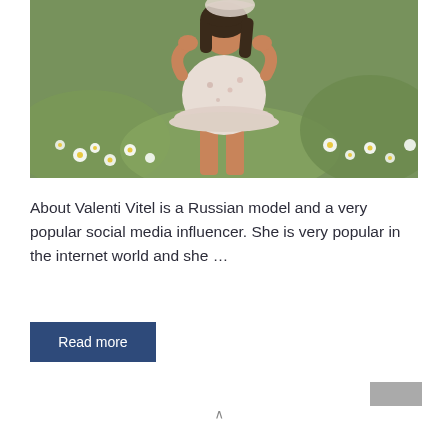[Figure (photo): Young woman in a floral short dress standing in a field of wildflowers and daisies, green meadow background]
About Valenti Vitel is a Russian model and a very popular social media influencer. She is very popular in the internet world and she …
Read more